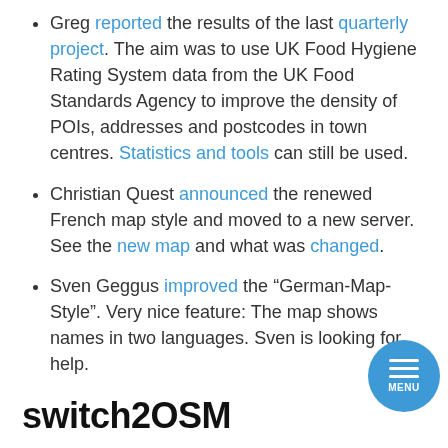Greg reported the results of the last quarterly project. The aim was to use UK Food Hygiene Rating System data from the UK Food Standards Agency to improve the density of POIs, addresses and postcodes in town centres. Statistics and tools can still be used.
Christian Quest announced the renewed French map style and moved to a new server. See the new map and what was changed.
Sven Geggus improved the “German-Map-Style”. Very nice feature: The map shows names in two languages. Sven is looking for help.
switch2OSM
The TAHUNA app beta version is available (automatic translation) from Google Play S... adding Teasi navigation tools to your mobile device.